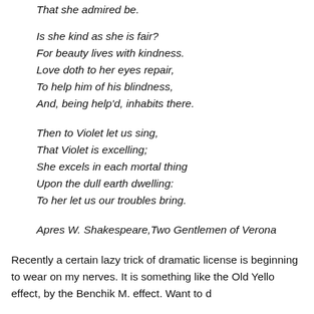That she admired be.
Is she kind as she is fair?
For beauty lives with kindness.
Love doth to her eyes repair,
To help him of his blindness,
And, being help'd, inhabits there.

Then to Violet let us sing,
That Violet is excelling;
She excels in each mortal thing
Upon the dull earth dwelling:
To her let us our troubles bring.
Apres W. Shakespeare, Two Gentlemen of Verona
Recently a certain lazy trick of dramatic license is beginning to wear on my nerves. It is something like the Old Yellow effect, by the Benchik M. effect. Want to d...